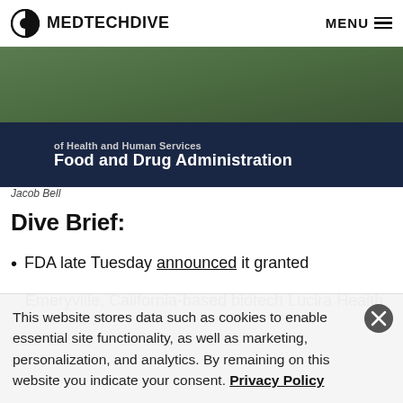MEDTECHDIVE   MENU
[Figure (photo): FDA building sign reading 'Food and Drug Administration' and 'Health and Human Services' on a dark blue background, with grass and concrete curb in foreground]
Jacob Bell
Dive Brief:
FDA late Tuesday announced it granted
Emeryville, California-based biotech Lucira Health an
This website stores data such as cookies to enable essential site functionality, as well as marketing, personalization, and analytics. By remaining on this website you indicate your consent. Privacy Policy